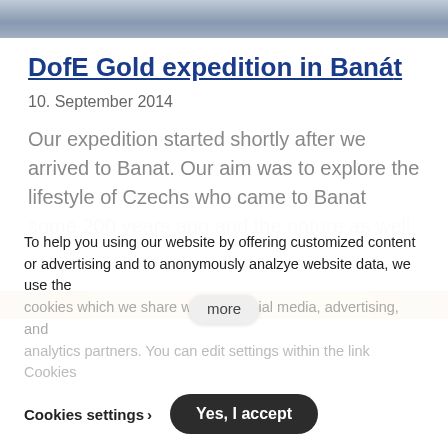[Figure (photo): Top portion of a photo showing people, cropped at top of page]
DofE Gold expedition in Banát
10. September 2014
Our expedition started shortly after we arrived to Banat. Our aim was to explore the lifestyle of Czechs who came to Banat some 200 years ago and the nature as well.
[Figure (photo): Partial photo with orange/gold tones, partially obscured by cookie overlay]
To help you using our website by offering customized content or advertising and to anonymously analzye website data, we use the cookies which we share with our social media, advertising, and analytics partners. You can edit settings within the link Cookies
more
Cookies settings ›
Yes, I accept